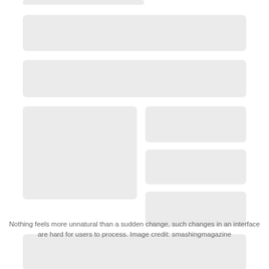[Figure (illustration): Skeleton/wireframe loading placeholder UI showing multiple gray rounded rectangles arranged to simulate a page layout: one small bar at top, two wide bars, a large left block with three smaller right blocks beside it, and one wide bar at the bottom.]
Nothing feels more unnatural than a sudden change, such changes in an interface are hard for users to process. Image credit: smashingmagazine